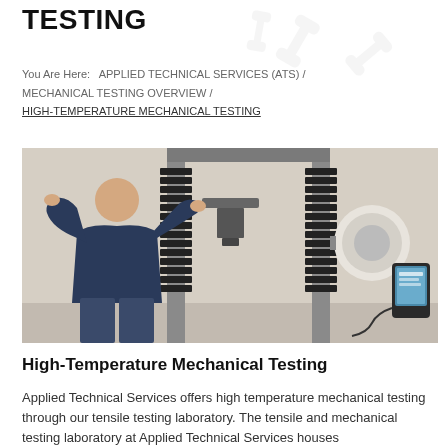TESTING
You Are Here:   APPLIED TECHNICAL SERVICES (ATS) / MECHANICAL TESTING OVERVIEW / HIGH-TEMPERATURE MECHANICAL TESTING
[Figure (photo): A technician in a dark blue polo shirt adjusts equipment on a high-temperature tensile testing machine with accordion-style bellows and a round attachment on the right side. A tablet device is visible on the far right.]
High-Temperature Mechanical Testing
Applied Technical Services offers high temperature mechanical testing through our tensile testing laboratory. The tensile and mechanical testing laboratory at Applied Technical Services houses